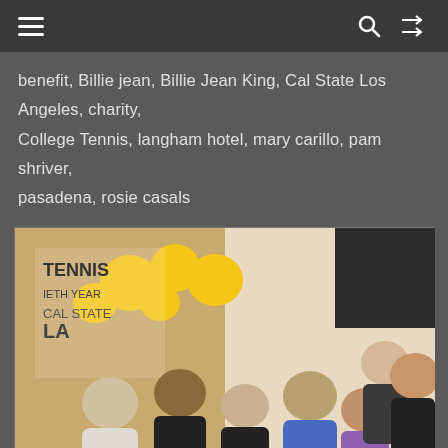Navigation bar with hamburger menu, search, and shuffle icons
benefit, Billie jean, Billie Jean King, Cal State Los Angeles, charity, College Tennis, langham hotel, mary carillo, pam shriver, pasadena, rosie casals
[Figure (photo): Group photo of Billie Jean King and friends at Cal State Los Angeles event, with yellow flower decorations and a banner reading TENNIS FIFTIETH YEAR CAL STATE LA in the background]
Billie Jean King and Friends at Cal State Los Angeles